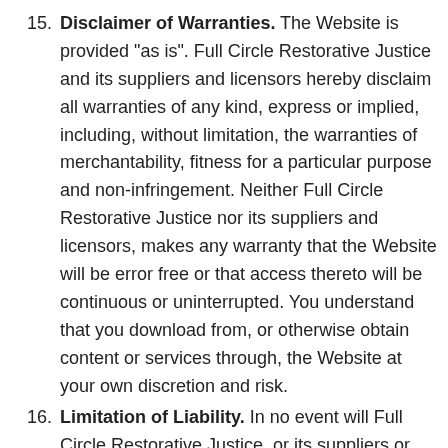15. Disclaimer of Warranties. The Website is provided "as is". Full Circle Restorative Justice and its suppliers and licensors hereby disclaim all warranties of any kind, express or implied, including, without limitation, the warranties of merchantability, fitness for a particular purpose and non-infringement. Neither Full Circle Restorative Justice nor its suppliers and licensors, makes any warranty that the Website will be error free or that access thereto will be continuous or uninterrupted. You understand that you download from, or otherwise obtain content or services through, the Website at your own discretion and risk.
16. Limitation of Liability. In no event will Full Circle Restorative Justice, or its suppliers or